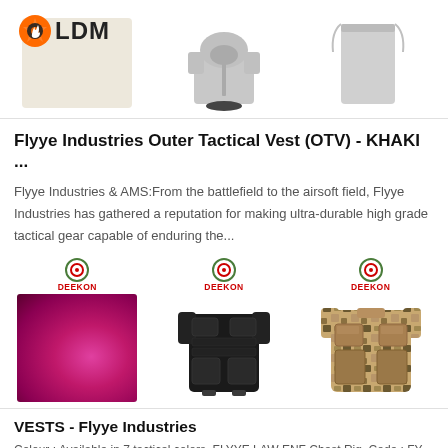[Figure (photo): Top row of product images: LDM logo with gear icon on fabric/shirt background, a grey hoodie/vest, and a light grey garment]
Flyye Industries Outer Tactical Vest (OTV) - KHAKI ...
Flyye Industries & AMS:From the battlefield to the airsoft field, Flyye Industries has gathered a reputation for making ultra-durable high grade tactical gear capable of enduring the...
[Figure (photo): Three product images with DEEKON branding: pink/magenta fabric, black tactical chest rig/vest, desert camouflage tactical vest]
VESTS - Flyye Industries
Colour : Available in 7 tactical colors. FLYYE LAW ENF Chest Rig. Code : FY-VT-C011.